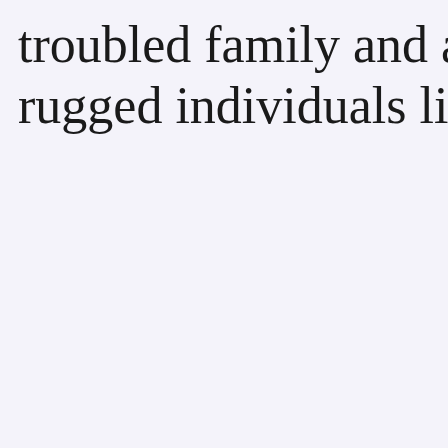troubled family and a quirky gro rugged individuals living off the